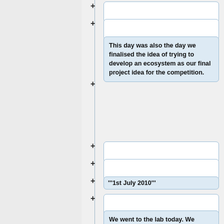This day was also the day we finalised the idea of trying to develop an ecosystem as our final project idea for the competition.
'''1st July 2010'''
We went to the lab today. We prepared the